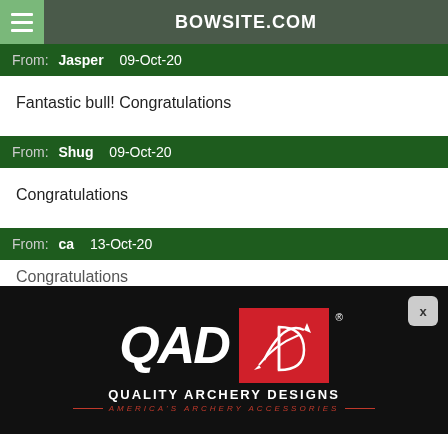BOWSITE.COM
From: Jasper 09-Oct-20
Fantastic bull! Congratulations
From: Shug 09-Oct-20
Congratulations
From: ca 13-Oct-20
Congratulations
[Figure (logo): QAD Quality Archery Designs advertisement banner with white QAD text and red logo box on black background, tagline: AMERICA'S ARCHERY ACCESSORIES]